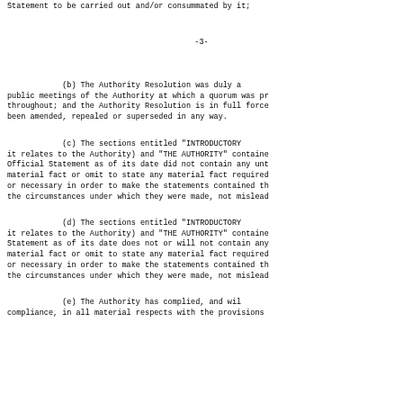Statement to be carried out and/or consummated by it;
-3-
(b) The Authority Resolution was duly adopted at public meetings of the Authority at which a quorum was present throughout; and the Authority Resolution is in full force and has not been amended, repealed or superseded in any way.
(c) The sections entitled "INTRODUCTORY STATEMENT" (as it relates to the Authority) and "THE AUTHORITY" contained in the Official Statement as of its date did not contain any untrue statement of material fact or omit to state any material fact required to be stated or necessary in order to make the statements contained therein, under the circumstances under which they were made, not misleading.
(d) The sections entitled "INTRODUCTORY STATEMENT" (as it relates to the Authority) and "THE AUTHORITY" contained in the Final Statement as of its date does not or will not contain any untrue statement of material fact or omit to state any material fact required to be stated or necessary in order to make the statements contained therein, under the circumstances under which they were made, not misleading.
(e) The Authority has complied, and will continue in compliance, in all material respects with the provisions of